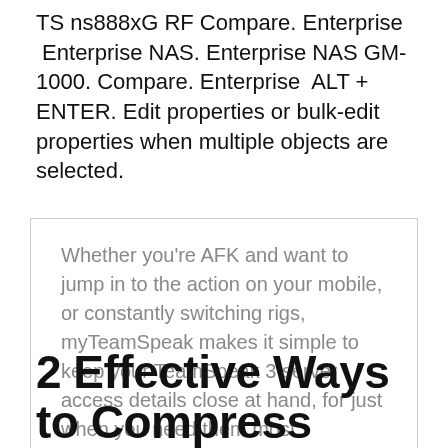TS ns888xG RF Compare. Enterprise  Enterprise NAS. Enterprise NAS GM-1000. Compare. Enterprise  ALT + ENTER. Edit properties or bulk-edit properties when multiple objects are selected.
Whether you're AFK and want to jump in to the action on your mobile, or constantly switching rigs, myTeamSpeak makes it simple to keep your TeamSpeak 3 server access details close at hand, for just when you need them most.
2 Effective Ways to Compress Your TS Files without Losing